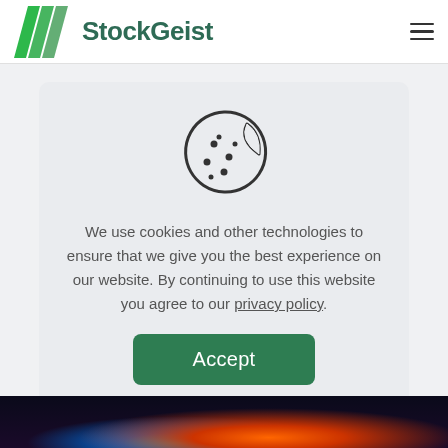StockGeist
[Figure (illustration): Cookie consent dialog with cookie icon, text about cookies and privacy policy, and an Accept button]
We use cookies and other technologies to ensure that we give you the best experience on our website. By continuing to use this website you agree to our privacy policy.
[Figure (photo): Colorful bubble or sphere on dark background, partially visible at bottom of page]